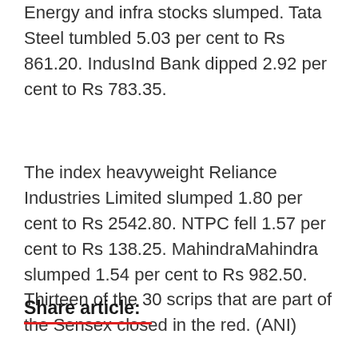Energy and infra stocks slumped. Tata Steel tumbled 5.03 per cent to Rs 861.20. IndusInd Bank dipped 2.92 per cent to Rs 783.35.
The index heavyweight Reliance Industries Limited slumped 1.80 per cent to Rs 2542.80. NTPC fell 1.57 per cent to Rs 138.25. MahindraMahindra slumped 1.54 per cent to Rs 982.50. Thirteen of the 30 scrips that are part of the Sensex closed in the red. (ANI)
Share article: